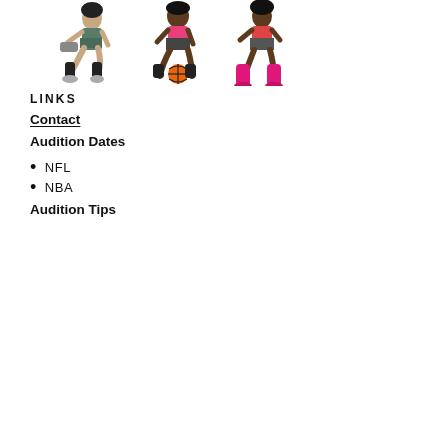[Figure (illustration): Illustration of women in sports/dance poses with a basketball, wearing athletic and stylish outfits including knee-high boots]
LINKS
Contact
Audition Dates
NFL
NBA
Audition Tips